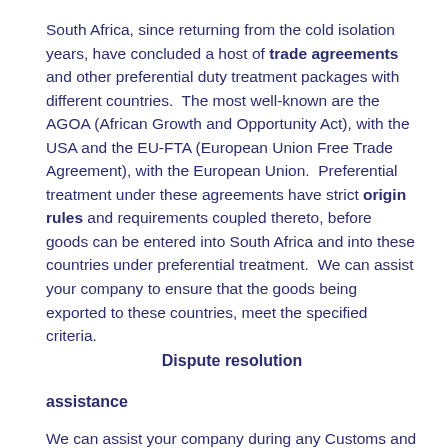South Africa, since returning from the cold isolation years, have concluded a host of trade agreements and other preferential duty treatment packages with different countries. The most well-known are the AGOA (African Growth and Opportunity Act), with the USA and the EU-FTA (European Union Free Trade Agreement), with the European Union. Preferential treatment under these agreements have strict origin rules and requirements coupled thereto, before goods can be entered into South Africa and into these countries under preferential treatment. We can assist your company to ensure that the goods being exported to these countries, meet the specified criteria.
Dispute resolution assistance
We can assist your company during any Customs and